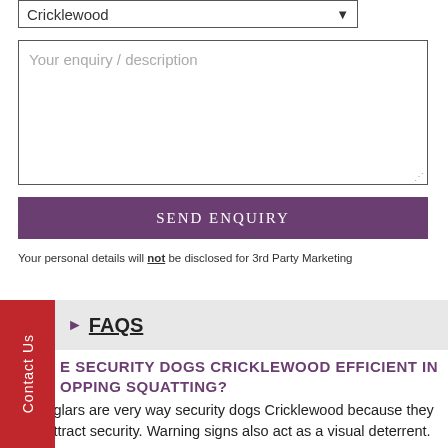[Figure (screenshot): Dropdown select field showing 'Cricklewood' as selected value]
[Figure (screenshot): Textarea input field with placeholder text 'Your enquiry / description']
[Figure (screenshot): Purple 'SEND ENQUIRY' button]
Your personal details will not be disclosed for 3rd Party Marketing
FAQS
ARE SECURITY DOGS CRICKLEWOOD EFFICIENT IN STOPPING SQUATTING?
...burglars are very way security dogs Cricklewood because they can attract security. Warning signs also act as a visual deterrent.